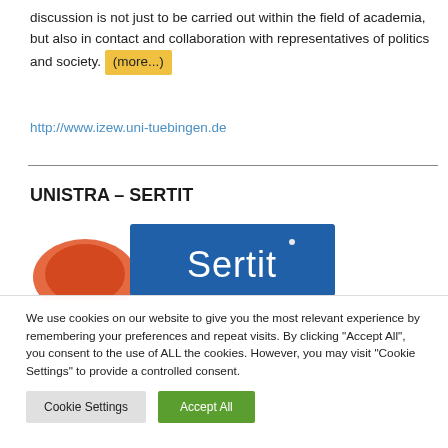discussion is not just to be carried out within the field of academia, but also in contact and collaboration with representatives of politics and society. (more...)
http://www.izew.uni-tuebingen.de
UNISTRA – SERTIT
[Figure (logo): UNISTRA SERTIT logo with globe graphic and blue rectangle with 'Sertit' text]
We use cookies on our website to give you the most relevant experience by remembering your preferences and repeat visits. By clicking "Accept All", you consent to the use of ALL the cookies. However, you may visit "Cookie Settings" to provide a controlled consent.